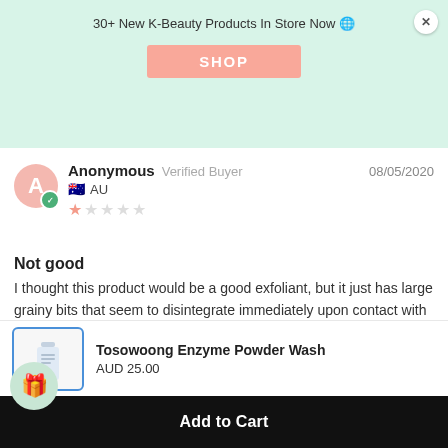30+ New K-Beauty Products In Store Now 🌐
SHOP
Anonymous  Verified Buyer  08/05/2020  AU  ★☆☆☆☆
Not good
I thought this product would be a good exfoliant, but it just has large grainy bits that seem to disintegrate immediately upon contact with water. Then it lathers like it's got a ton of detergent in it. I hoped it might be a bit like Dermalogica's powder exfoliant - it's not.
Tosowoong Enzyme Powder Wash
AUD 25.00
Add to Cart